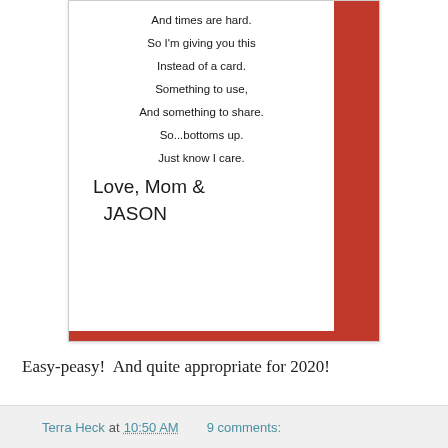[Figure (photo): Photo of a greeting card insert on a red background. Printed text reads: 'And times are hard. So I'm giving you this Instead of a card. Something to use, And something to share. So...bottoms up. Just know I care.' Below in handwriting: 'Love, Mom & JASON']
Easy-peasy!  And quite appropriate for 2020!
Terra Heck at 10:50 AM    9 comments: